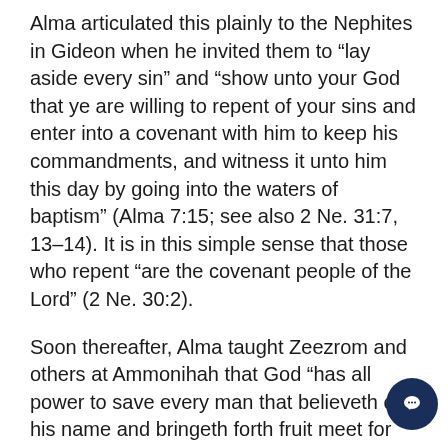Alma articulated this plainly to the Nephites in Gideon when he invited them to “lay aside every sin” and “show unto your God that ye are willing to repent of your sins and enter into a covenant with him to keep his commandments, and witness it unto him this day by going into the waters of baptism” (Alma 7:15; see also 2 Ne. 31:7, 13–14). It is in this simple sense that those who repent “are the covenant people of the Lord” (2 Ne. 30:2).
Soon thereafter, Alma taught Zeezrom and others at Ammonihah that God “has all power to save every man that believeth on his name and bringeth forth fruit meet for repentance” (Alma 12:15, 33; 13:13; see also 34:30), and Mormon wrote to his son Moroni that “the first fruits of repentance is baptism” (Moro.
[Figure (illustration): Dark navy circular chat button with white speech bubble icon in bottom right corner]